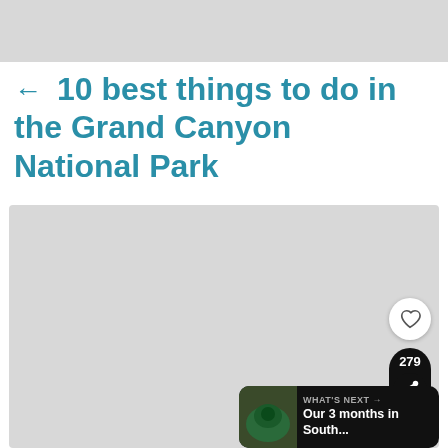[Figure (photo): Top image placeholder, light gray background]
← 10 best things to do in the Grand Canyon National Park
[Figure (photo): Large image placeholder, light gray background with UI overlays: heart/like button, share count 279, share button, and 'What's Next → Our 3 months in South...' banner]